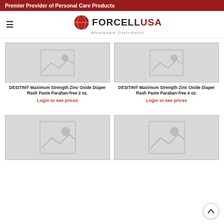Premier Provider of Personal Care Products
[Figure (logo): ForcellUSA logo with red globe icon and 'Wholesale Distributor' tagline]
[Figure (photo): Placeholder image for DESITIN product 2 oz]
DESITIN® Maximum Strength Zinc Oxide Diaper Rash Paste Paraban-free 2 oz.
Login to see prices
[Figure (photo): Placeholder image for DESITIN product 4 oz]
DESITIN® Maximum Strength Zinc Oxide Diaper Rash Paste Paraban-free 4 oz.
Login to see prices
[Figure (photo): Placeholder image for product (bottom left)]
[Figure (photo): Placeholder image for product (bottom right)]